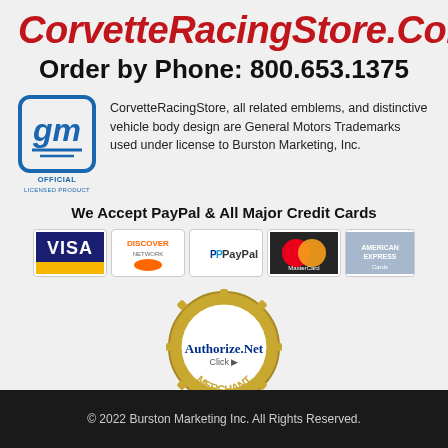CorvetteRacingStore.Com
Order by Phone: 800.653.1375
[Figure (logo): GM Official Licensed Product logo - blue square with 'gm' text]
CorvetteRacingStore, all related emblems, and distinctive vehicle body design are General Motors Trademarks used under license to Burston Marketing, Inc.
We Accept PayPal & All Major Credit Cards
[Figure (infographic): Payment method logos: Visa, Discover, PayPal, MasterCard, American Express cards]
[Figure (logo): Authorize.Net Verified Merchant seal]
© 2022 Burston Marketing Inc. All Rights Reserved.